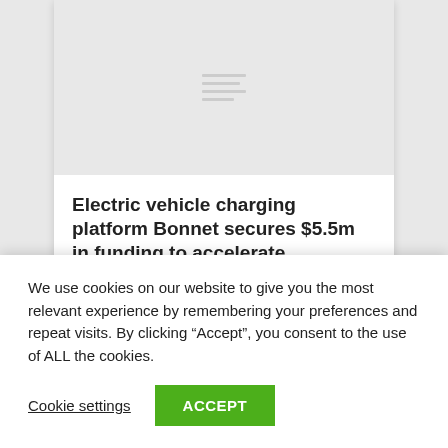[Figure (illustration): Gray placeholder image with hamburger menu lines icon in center]
Electric vehicle charging platform Bonnet secures $5.5m in funding to accelerate expansion
4 March 2022
We use cookies on our website to give you the most relevant experience by remembering your preferences and repeat visits. By clicking “Accept”, you consent to the use of ALL the cookies.
Cookie settings    ACCEPT